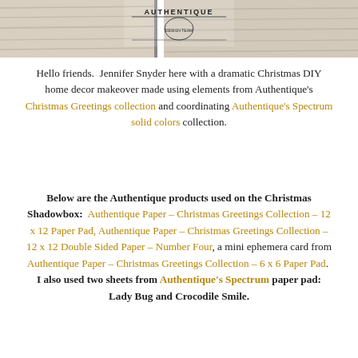[Figure (illustration): Header image showing a rustic wood background with two photos and an Authentique Design Team logo/stamp in the center top]
Hello friends.  Jennifer Snyder here with a dramatic Christmas DIY home decor makeover made using elements from Authentique's Christmas Greetings collection and coordinating Authentique's Spectrum solid colors collection.
Below are the Authentique products used on the Christmas Shadowbox:  Authentique Paper – Christmas Greetings Collection – 12 x 12 Paper Pad, Authentique Paper – Christmas Greetings Collection – 12 x 12 Double Sided Paper – Number Four, a mini ephemera card from Authentique Paper – Christmas Greetings Collection – 6 x 6 Paper Pad.  I also used two sheets from Authentique's Spectrum paper pad: Lady Bug and Crocodile Smile.